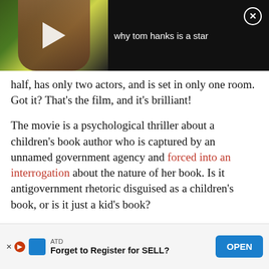[Figure (screenshot): Video player overlay showing a woman's face partially visible, dark background, play button, title 'why tom hanks is a star' and close button (X)]
half, has only two actors, and is set in only one room. Got it? That's the film, and it's brilliant!
The movie is a psychological thriller about a children's book author who is captured by an unnamed government agency and forced into an interrogation about the nature of her book. Is it antigovernment rhetoric disguised as a children's book, or is it just a kid's book?
The psychological tortures provided by Alan Rickman are phenomenally subtle yet horribly realistic. The pace of this film is slow, but it's one of those movies that really make you think. What would you do if you were in her situation? Could
[Figure (screenshot): Ad banner: ATD logo, 'Forget to Register for SELL?' with OPEN button, X and play icons at bottom left]